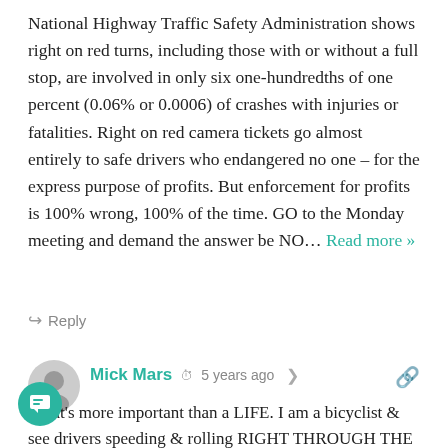National Highway Traffic Safety Administration shows right on red turns, including those with or without a full stop, are involved in only six one-hundredths of one percent (0.06% or 0.0006) of crashes with injuries or fatalities. Right on red camera tickets go almost entirely to safe drivers who endangered no one – for the express purpose of profits. But enforcement for profits is 100% wrong, 100% of the time. GO to the Monday meeting and demand the answer be NO... Read more »
Reply
Mick Mars · 5 years ago
What's more important than a LIFE. I am a bicyclist & see drivers speeding & rolling RIGHT THROUGH THE RED LIGHT WITHOUT STOPPING OR EVEN LOOKING. With so many drivers on their cellphones, on prescription drugs & drunk or all & any of the above WHO WOULD BE AGAINST